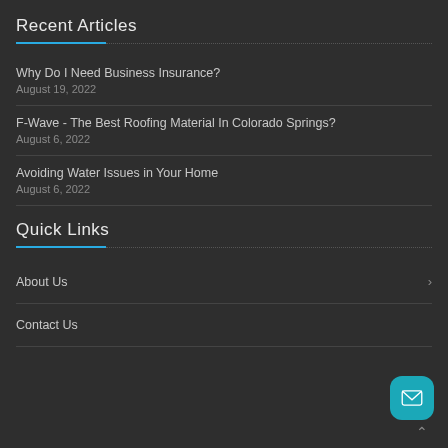Recent Articles
Why Do I Need Business Insurance?
August 19, 2022
F-Wave - The Best Roofing Material In Colorado Springs?
August 6, 2022
Avoiding Water Issues in Your Home
August 6, 2022
Quick Links
About Us
Contact Us